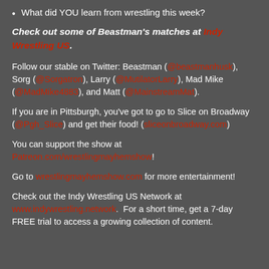What did YOU learn from wrestling this week?
Check out some of Beastman's matches at Indy Wrestling US.
Follow our stable on Twitter: Beastman (@beastmanhusk), Sorg (@Sorgatron), Larry (@MutilatorLarry), Mad Mike (@MadMike4883), and Matt (@MainstreamMat).
If you are in Pittsburgh, you've got to go to Slice on Broadway (@Pgh_Slice) and get their food! (sliceonbroadway.com)
You can support the show at Patreon.com/wrestlingmayhemshow!
Go to wrestlingmayhemshow.com for more entertainment!
Check out the Indy Wrestling US Network at www.indywrestling.network. For a short time, get a 7-day FREE trial to access a growing collection of content.